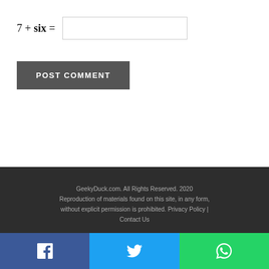7 + six =
POST COMMENT
GeekyDuck.com. All Rights Reserved. 2020 Reproduction of materials found on this site, in any form, without explicit permission is prohibited. Privacy Policy | Contact Us
[Figure (other): Social share bar with Facebook, Twitter, and WhatsApp buttons]